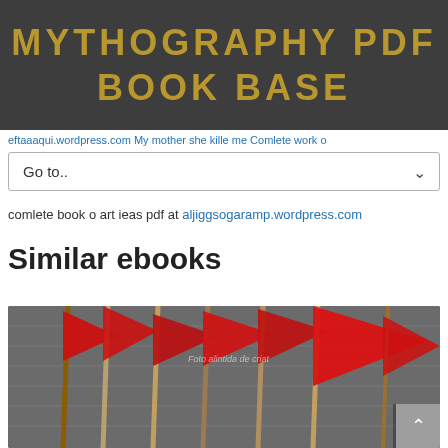MYTHOGRAPHY PDF BOOK BASE
eftaaaqui.wordpress.com My mother she kille me Comlete work o
Go to..
comlete book o art ieas pdf at aljiggsogaramp.wordpress.com
Similar ebooks
[Figure (photo): Photograph of multiple red flags on poles leaning against a tiled roof or wall, taken from below at an angle. A watermark reads 'Foto alintida de criat'.]